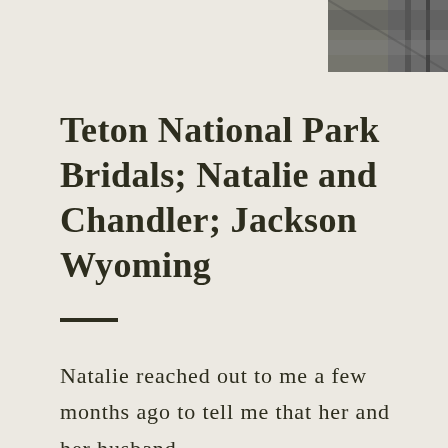[Figure (photo): Partial black and white photograph visible in the top-right corner of the page]
Teton National Park Bridals; Natalie and Chandler; Jackson Wyoming
Natalie reached out to me a few months ago to tell me that her and her husband